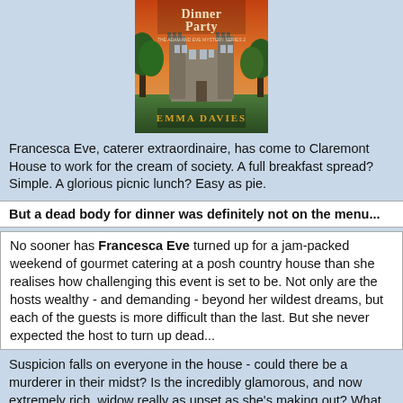[Figure (illustration): Book cover for 'Dinner Party' by Emma Davies, The Adam and Eve Mystery Series. Shows a castle/manor house with trees and an orange/red sky.]
Francesca Eve, caterer extraordinaire, has come to Claremont House to work for the cream of society. A full breakfast spread? Simple. A glorious picnic lunch? Easy as pie.
But a dead body for dinner was definitely not on the menu...
No sooner has Francesca Eve turned up for a jam-packed weekend of gourmet catering at a posh country house than she realises how challenging this event is set to be. Not only are the hosts wealthy - and demanding - beyond her wildest dreams, but each of the guests is more difficult than the last. But she never expected the host to turn up dead...
Suspicion falls on everyone in the house - could there be a murderer in their midst? Is the incredibly glamorous, and now extremely rich, widow really as upset as she's making out? What secret is the housekeeper hiding? Whose money troubles are now forgotten? As the clock races without a mention. Fran is intrigued by each of them...